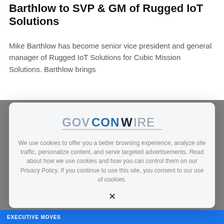Barthlow to SVP & GM of Rugged IoT Solutions
Mike Barthlow has become senior vice president and general manager of Rugged IoT Solutions for Cubic Mission Solutions. Barthlow brings
[Figure (screenshot): GovConWire cookie consent modal overlay showing the GovConWire logo and cookie usage notice with an X close button]
EXECUTIVE MOVES